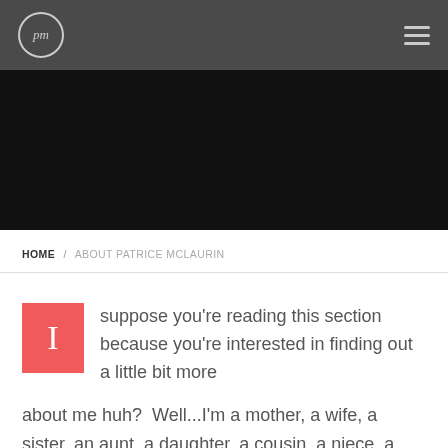[Figure (logo): pm logo in a circle on dark header bar with hamburger menu icon]
[Figure (photo): Dark/black hero image banner]
HOME / ABOUT PATRICE MCLAURIN
I suppose you're reading this section because you're interested in finding out a little bit more about me huh?  Well...I'm a mother, a wife, a sister, an aunt, a daughter, a cousin, a niece, a friend, a poet, an